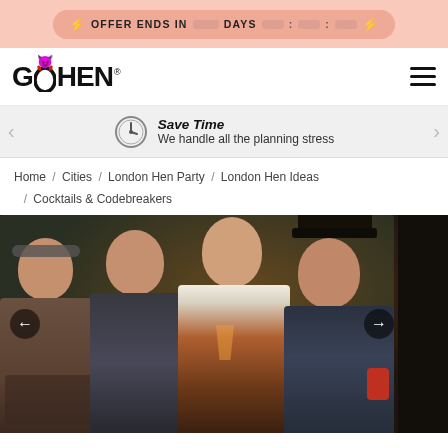⚡ OFFER ENDS IN ___ DAYS ___:___:___ ⚡
[Figure (logo): Go Hen logo with red devil horns on the O]
Save Time
We handle all the planning stress
Home / Cities / London Hen Party / London Hen Ideas / Cocktails & Codebreakers
[Figure (photo): Four people (two women and two men) seated at a bar table with codebreaker props and cocktails, in front of a chalkboard background. One man wears a top hat.]